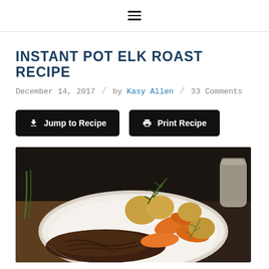≡
INSTANT POT ELK ROAST RECIPE
December 14, 2017  /  by Kasy Allen  /  33 Comments
Jump to Recipe  |  Print Recipe
[Figure (photo): A white plate with shredded elk pot roast surrounded by roasted carrots, potatoes, and herbs (rosemary, thyme), photographed close-up on a dark background.]